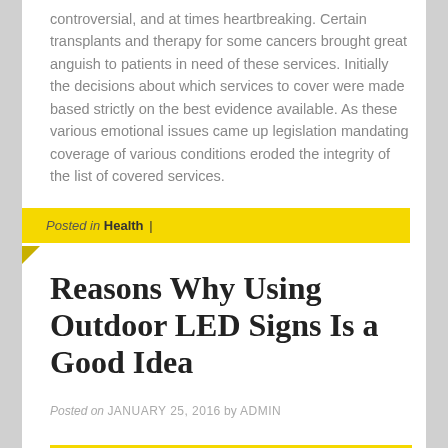controversial, and at times heartbreaking. Certain transplants and therapy for some cancers brought great anguish to patients in need of these services. Initially the decisions about which services to cover were made based strictly on the best evidence available. As these various emotional issues came up legislation mandating coverage of various conditions eroded the integrity of the list of covered services.
Posted in Health |
Reasons Why Using Outdoor LED Signs Is a Good Idea
Posted on JANUARY 25, 2016 by ADMIN